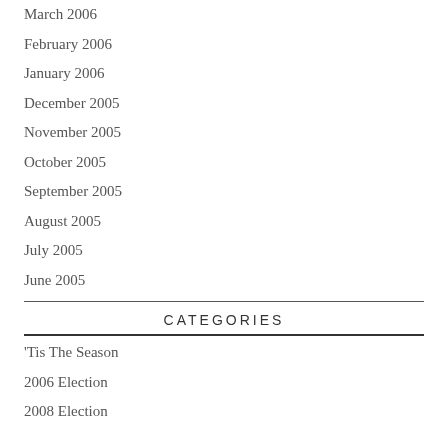March 2006
February 2006
January 2006
December 2005
November 2005
October 2005
September 2005
August 2005
July 2005
June 2005
CATEGORIES
'Tis The Season
2006 Election
2008 Election